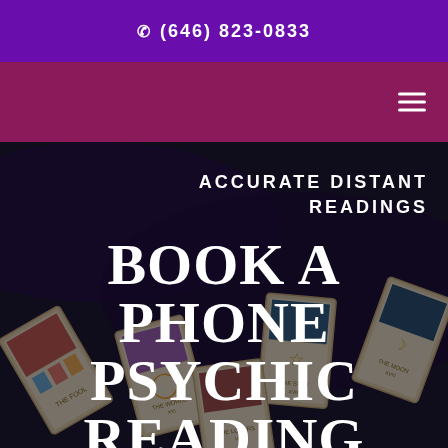☎ (646) 823-0833
[Figure (screenshot): Dark background with tarot cards spread out]
ACCURATE DISTANT READINGS
BOOK A PHONE PSYCHIC READING
CALL US NOW